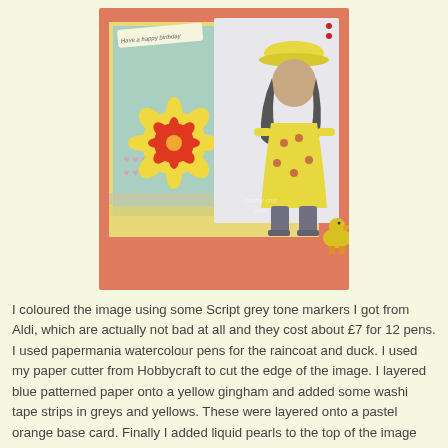[Figure (photo): A handmade birthday card with a pastel orange base. Features a stamped/coloured image of a girl in a yellow polka-dot raincoat and grey boots, standing next to a yellow duck. The card has layered blue patterned paper and yellow gingham, washi tape strips, paper flowers (yellow with red daisy overlay), a 'Have a happy birthday' banner, and liquid pearl embellishments.]
I coloured the image using some Script grey tone markers I got from Aldi, which are actually not bad at all and they cost about £7 for 12 pens. I used papermania watercolour pens for the raincoat and duck. I used my paper cutter from Hobbycraft to cut the edge of the image. I layered blue patterned paper onto a yellow gingham and added some washi tape strips in greys and yellows. These were layered onto a pastel orange base card. Finally I added liquid pearls to the top of the image (the top one is supposed to be squashed! Honest!) and layered some paper flowers